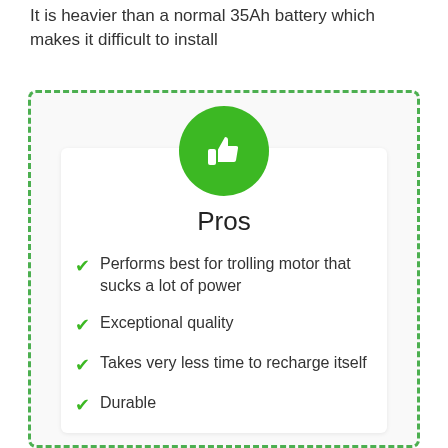It is heavier than a normal 35Ah battery which makes it difficult to install
[Figure (infographic): Green dashed border box with a green circle containing a thumbs-up icon, titled 'Pros', with four checkmark bullet points listing advantages.]
Pros
Performs best for trolling motor that sucks a lot of power
Exceptional quality
Takes very less time to recharge itself
Durable